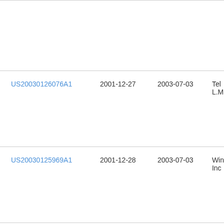| Patent Number | Filing Date | Publication Date | Assignee |
| --- | --- | --- | --- |
| US20030126076A1 | 2001-12-27 | 2003-07-03 | Tel L.M |
| US20030125969A1 | 2001-12-28 | 2003-07-03 | Win Inc |
| US6612488B2 | 2001-03-14 | 2003-09-02 | Hiti |
| US20030191711A1 | 2001-11-01 | 2003-10-09 | Jan |